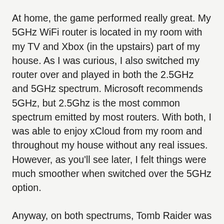At home, the game performed really great. My 5GHz WiFi router is located in my room with my TV and Xbox (in the upstairs) part of my house. As I was curious, I also switched my router over and played in both the 2.5GHz and 5GHz spectrum. Microsoft recommends 5GHz, but 2.5Ghz is the most common spectrum emitted by most routers. With both, I was able to enjoy xCloud from my room and throughout my house without any real issues. However, as you'll see later, I felt things were much smoother when switched over the 5GHz option.
Anyway, on both spectrums, Tomb Raider was fairly slow to load up from the cloud, it took 30 seconds to get into the game, and then another 30 seconds